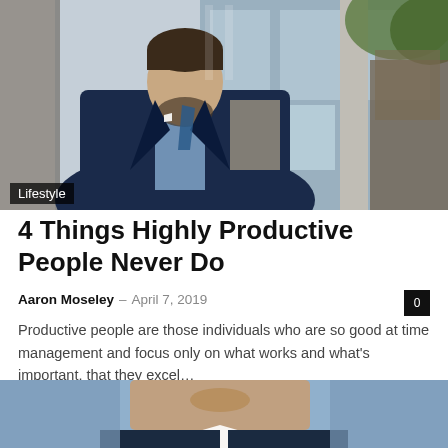[Figure (photo): Man in navy suit sitting near glass building exterior with a sculpture in the background]
Lifestyle
4 Things Highly Productive People Never Do
Aaron Moseley – April 7, 2019
Productive people are those individuals who are so good at time management and focus only on what works and what's important, that they excel…
[Figure (photo): Close-up of a man's face from nose down, wearing a suit, with blue background]